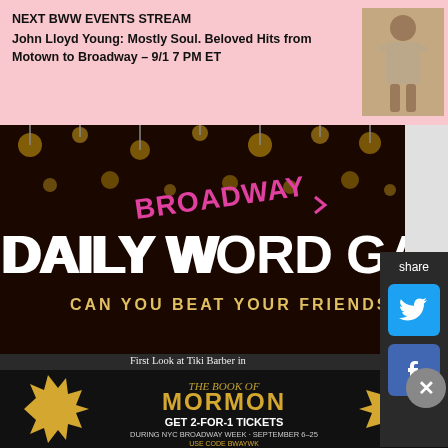NEXT BWW EVENTS STREAM
John Lloyd Young: Mostly Soul. Beloved Hits from Motown to Broadway – 9/1 7 PM ET
[Figure (photo): Photo of John Lloyd Young in a suit, seated]
[Figure (illustration): Broadway Daily Word Game banner – dark background with golden lights, pink Broadway text, white large text DAILY WORD GAME, tagline CAN YOU BEAT YOUR FRIENDS?]
share
Get Broadway's #1 Newsletter
Enter Your E-mail
Sign Up
News + special offers for Broadway Shows
First Look at Tiki Barber in
[Figure (illustration): The Book of Mormon advertisement – GET 2-FOR-1 TICKETS DURING NYC BROADWAY WEEK · SEPTEMBER 6–25 USE CODE BWAYWK GET TICKETS]
✕